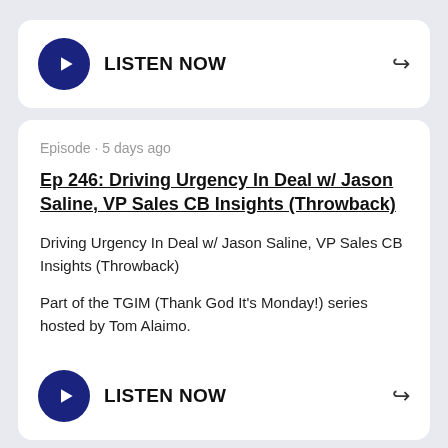[Figure (other): Listen Now button card with play button and share icon]
Episode · 5 days ago
Ep 246: Driving Urgency In Deal w/ Jason Saline, VP Sales CB Insights (Throwback)
Driving Urgency In Deal w/ Jason Saline, VP Sales CB Insights (Throwback)
Part of the TGIM (Thank God It's Monday!) series hosted by Tom Alaimo.
[Figure (other): Listen Now button with play button and share icon]
Episode · 1 week ago